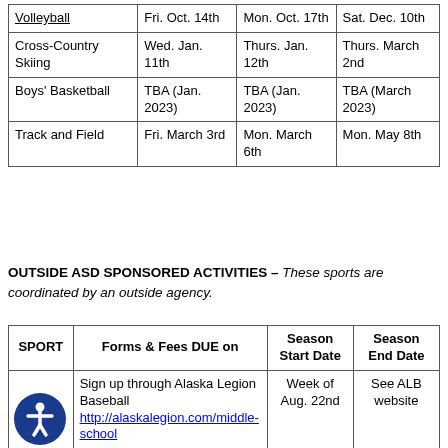| Sport | Forms & Fees DUE on | Season Start Date | Season End Date |
| --- | --- | --- | --- |
| Volleyball | Fri. Oct. 14th | Mon. Oct. 17th | Sat. Dec. 10th |
| Cross-Country Skiing | Wed. Jan. 11th | Thurs. Jan. 12th | Thurs. March 2nd |
| Boys' Basketball | TBA (Jan. 2023) | TBA (Jan. 2023) | TBA (March 2023) |
| Track and Field | Fri. March 3rd | Mon. March 6th | Mon. May 8th |
OUTSIDE ASD SPONSORED ACTIVITIES – These sports are coordinated by an outside agency.
| SPORT | Forms & Fees DUE on | Season Start Date | Season End Date |
| --- | --- | --- | --- |
| B[aseball] | Sign up through Alaska Legion Baseball http://alaskalegion.com/middle-school | Week of Aug. 22nd | See ALB website |